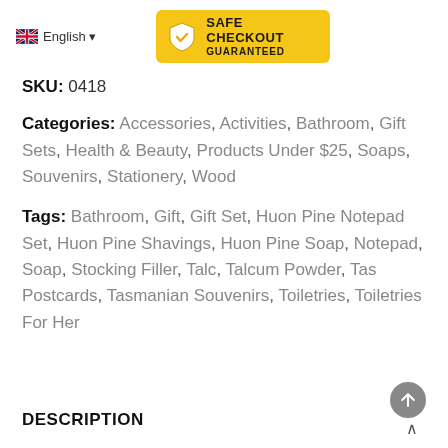[Figure (logo): UK flag icon with 'English' text and dropdown arrow, followed by Safe Checkout Guaranteed badge in yellow/gold with shield and checkmark icon]
SKU: 0418
Categories: Accessories, Activities, Bathroom, Gift Sets, Health & Beauty, Products Under $25, Soaps, Souvenirs, Stationery, Wood
Tags: Bathroom, Gift, Gift Set, Huon Pine Notepad Set, Huon Pine Shavings, Huon Pine Soap, Notepad, Soap, Stocking Filler, Talc, Talcum Powder, Tas Postcards, Tasmanian Souvenirs, Toiletries, Toiletries For Her
DESCRIPTION